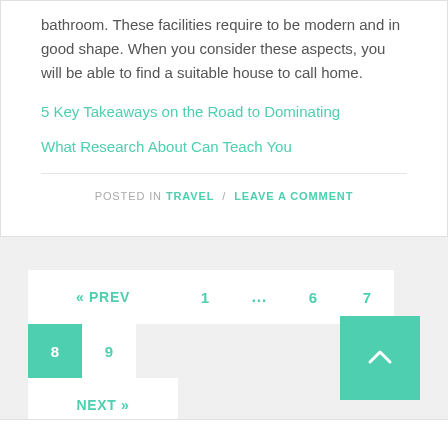bathroom. These facilities require to be modern and in good shape. When you consider these aspects, you will be able to find a suitable house to call home.
5 Key Takeaways on the Road to Dominating
What Research About Can Teach You
POSTED IN TRAVEL / LEAVE A COMMENT
« PREV  1  ...  6  7  8  9  NEXT »